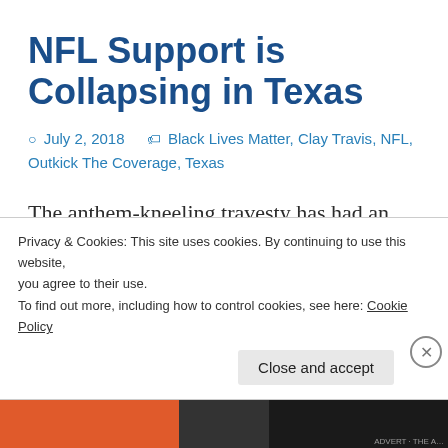NFL Support is Collapsing in Texas
July 2, 2018   Black Lives Matter, Clay Travis, NFL, Outkick The Coverage, Texas
The anthem-kneeling travesty has had an impact. When you lose your core customer you are in trouble.
Privacy & Cookies: This site uses cookies. By continuing to use this website, you agree to their use. To find out more, including how to control cookies, see here: Cookie Policy
Close and accept